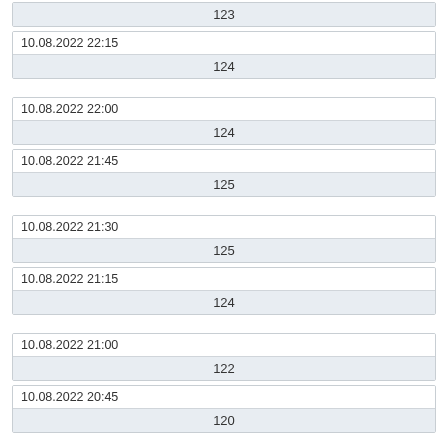| 123 |
| 10.08.2022 22:15 |  |
| 124 |
| 10.08.2022 22:00 |  |
| 124 |
| 10.08.2022 21:45 |  |
| 125 |
| 10.08.2022 21:30 |  |
| 125 |
| 10.08.2022 21:15 |  |
| 124 |
| 10.08.2022 21:00 |  |
| 122 |
| 10.08.2022 20:45 |  |
| 120 |
| 10.08.2022 20:30 |  |